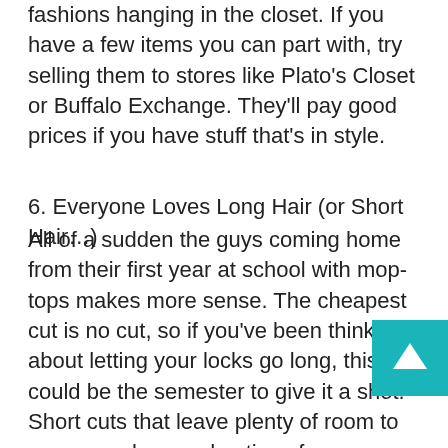fashions hanging in the closet. If you have a few items you can part with, try selling them to stores like Plato's Closet or Buffalo Exchange. They'll pay good prices if you have stuff that's in style.
6. Everyone Loves Long Hair (or Short Hair…)
All of a sudden the guys coming home from their first year at school with mop-tops makes more sense. The cheapest cut is no cut, so if you've been thinking about letting your locks go long, this could be the semester to give it a shot. Short cuts that leave plenty of room to grow are also good options for eliminating pricey salon bills.